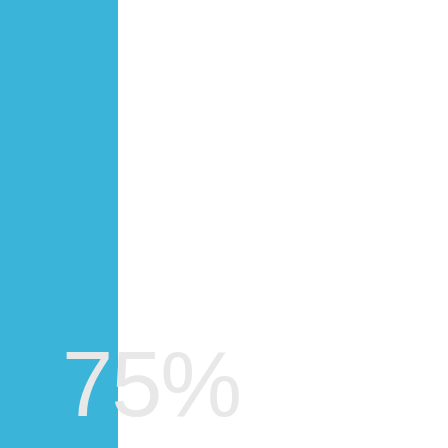[Figure (infographic): A page with a blue vertical bar on the left side and large light gray '75%' text displayed in the lower-left area, partially overlapping the blue bar and white background.]